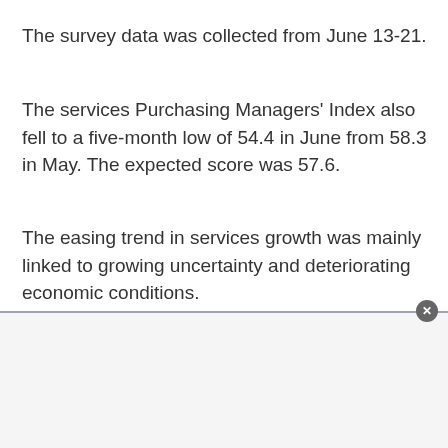The survey data was collected from June 13-21.
The services Purchasing Managers' Index also fell to a five-month low of 54.4 in June from 58.3 in May. The expected score was 57.6.
The easing trend in services growth was mainly linked to growing uncertainty and deteriorating economic conditions.
The manufacturing PMI dropped to a 19-month low